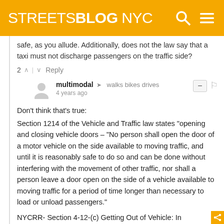STREETSBLOG NYC
safe, as you allude. Additionally, does not the law say that a taxi must not discharge passengers on the traffic side?
2 ^ | v Reply
multimodal → walks bikes drives
4 years ago
Don't think that's true:
Section 1214 of the Vehicle and Traffic law states "opening and closing vehicle doors – "No person shall open the door of a motor vehicle on the side available to moving traffic, and until it is reasonably safe to do so and can be done without interfering with the movement of other traffic, nor shall a person leave a door open on the side of a vehicle available to moving traffic for a period of time longer than necessary to load or unload passengers."
NYCRR- Section 4-12-(c) Getting Out of Vehicle: In